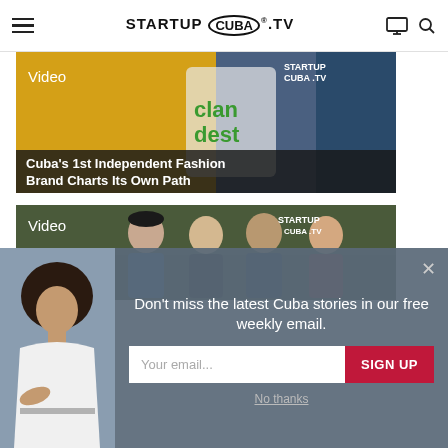STARTUP CUBA TV
[Figure (screenshot): Video thumbnail showing Cuba's 1st Independent Fashion Brand 'Clandestino' with yellow taxi and tote bag with 'clandest' text in green. Badge: Video, STARTUP CUBA TV logo. Caption: Cuba's 1st Independent Fashion Brand Charts Its Own Path]
[Figure (screenshot): Video thumbnail showing group of four young people outdoors. Badge: Video, STARTUP CUBA TV logo.]
[Figure (screenshot): Modal popup overlay with woman with afro hair on left. Text: Don't miss the latest Cuba stories in our free weekly email. Email input field, SIGN UP button, No thanks link.]